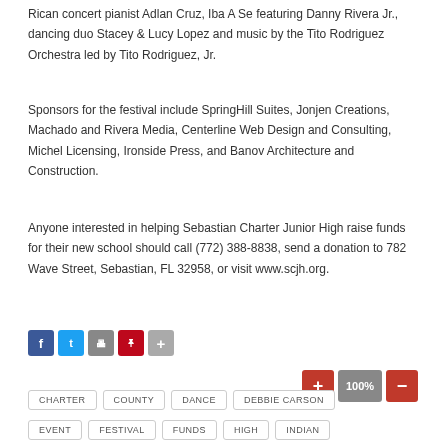Rican concert pianist Adlan Cruz, Iba A Se featuring Danny Rivera Jr., dancing duo Stacey & Lucy Lopez and music by the Tito Rodriguez Orchestra led by Tito Rodriguez, Jr.
Sponsors for the festival include SpringHill Suites, Jonjen Creations, Machado and Rivera Media, Centerline Web Design and Consulting, Michel Licensing, Ironside Press, and Banov Architecture and Construction.
Anyone interested in helping Sebastian Charter Junior High raise funds for their new school should call (772) 388-8838, send a donation to 782 Wave Street, Sebastian, FL 32958, or visit www.scjh.org.
[Figure (infographic): Social media sharing icons: Facebook (blue), Twitter (light blue), Print (gray), Pinterest (red), More (gray plus sign)]
[Figure (infographic): Zoom controls: red plus button, gray 100% label, red minus button]
CHARTER
COUNTY
DANCE
DEBBIE CARSON
EVENT
FESTIVAL
FUNDS
HIGH
INDIAN